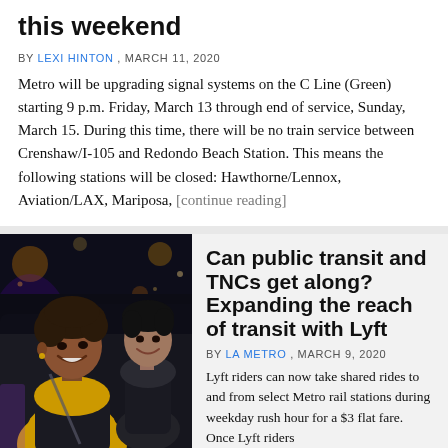this weekend
BY LEXI HINTON , MARCH 11, 2020
Metro will be upgrading signal systems on the C Line (Green) starting 9 p.m. Friday, March 13 through end of service, Sunday, March 15. During this time, there will be no train service between Crenshaw/I-105 and Redondo Beach Station. This means the following stations will be closed: Hawthorne/Lennox, Aviation/LAX, Mariposa, [continue reading]
[Figure (photo): Two people smiling inside a car at night, one in the foreground wearing a yellow jacket]
Can public transit and TNCs get along? Expanding the reach of transit with Lyft
BY LA METRO , MARCH 9, 2020
Lyft riders can now take shared rides to and from select Metro rail stations during weekday rush hour for a $3 flat fare. Once Lyft riders